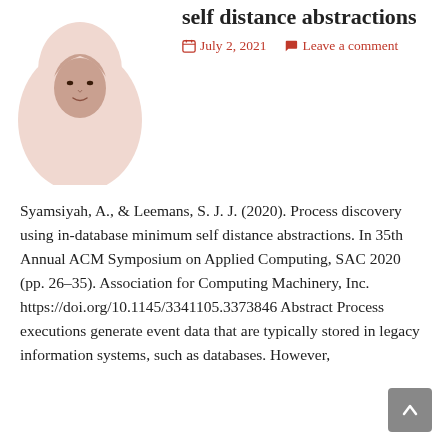[Figure (photo): Profile photo of a person wearing a white hijab, facing forward, light pink/white background.]
self distance abstractions
July 2, 2021   Leave a comment
Syamsiyah, A., & Leemans, S. J. J. (2020). Process discovery using in-database minimum self distance abstractions. In 35th Annual ACM Symposium on Applied Computing, SAC 2020 (pp. 26–35). Association for Computing Machinery, Inc. https://doi.org/10.1145/3341105.3373846 Abstract Process executions generate event data that are typically stored in legacy information systems, such as databases. However,